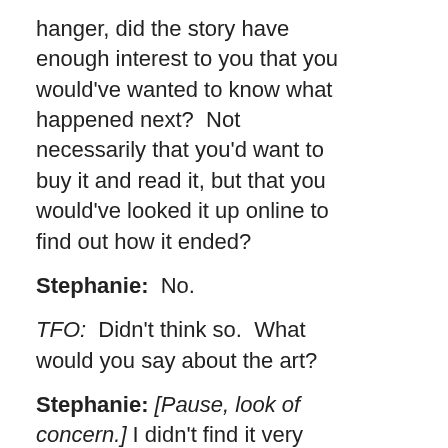hanger, did the story have enough interest to you that you would've wanted to know what happened next?  Not necessarily that you'd want to buy it and read it, but that you would've looked it up online to find out how it ended?
Stephanie:  No.
TFO:  Didn't think so.  What would you say about the art?
Stephanie: [Pause, look of concern.] I didn't find it very interesting.